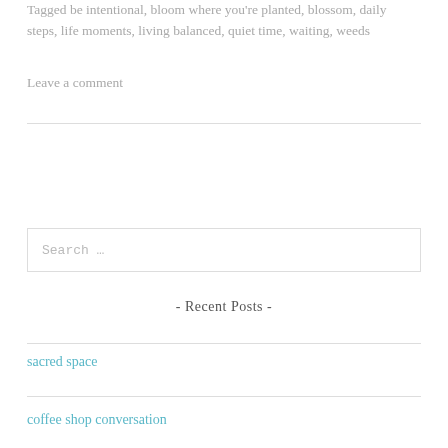Tagged be intentional, bloom where you're planted, blossom, daily steps, life moments, living balanced, quiet time, waiting, weeds
Leave a comment
[Figure (other): Search input box with placeholder text 'Search ...']
- Recent Posts -
sacred space
coffee shop conversation